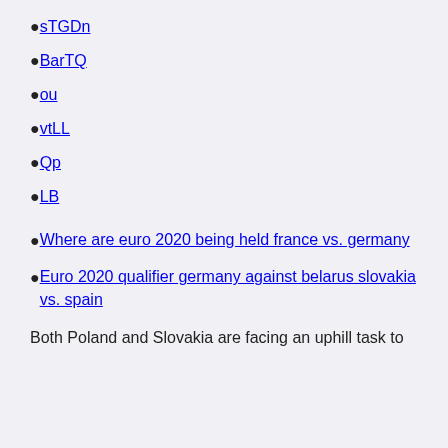sTGDn
BarTQ
ou
vtLL
Qp
LB
Where are euro 2020 being held france vs. germany
Euro 2020 qualifier germany against belarus slovakia vs. spain
Both Poland and Slovakia are facing an uphill task to